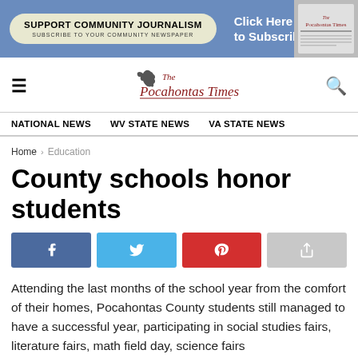[Figure (infographic): Blue banner advertisement: Support Community Journalism - Subscribe to your community newspaper, with Click Here to Subscribe button and newspaper image]
The Pocahontas Times — site header with hamburger menu and search icon
NATIONAL NEWS   WV STATE NEWS   VA STATE NEWS
Home > Education
County schools honor students
[Figure (infographic): Social sharing buttons: Facebook, Twitter, Pinterest, Share]
Attending the last months of the school year from the comfort of their homes, Pocahontas County students still managed to have a successful year, participating in social studies fairs, literature fairs, math field day, science fairs